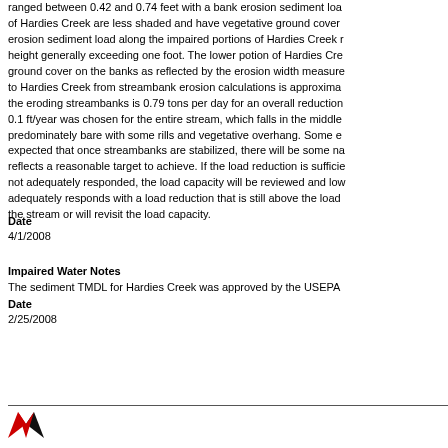ranged between 0.42 and 0.74 feet with a bank erosion sediment load of Hardies Creek are less shaded and have vegetative ground cover erosion sediment load along the impaired portions of Hardies Creek height generally exceeding one foot. The lower potion of Hardies Cre ground cover on the banks as reflected by the erosion width measure to Hardies Creek from streambank erosion calculations is approxima the eroding streambanks is 0.79 tons per day for an overall reduction 0.1 ft/year was chosen for the entire stream, which falls in the middle predominately bare with some rills and vegetative overhang. Some e expected that once streambanks are stabilized, there will be some na reflects a reasonable target to achieve. If the load reduction is sufficie not adequately responded, the load capacity will be reviewed and low adequately responds with a load reduction that is still above the load the stream or will revisit the load capacity.
Date
4/1/2008
Impaired Water Notes
The sediment TMDL for Hardies Creek was approved by the USEPA
Date
2/25/2008
[Figure (logo): Red and black W logo at page footer]